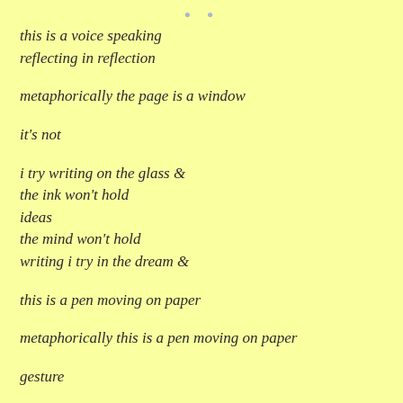[Figure (illustration): Two small blue-grey quotation mark dots near top center of page]
this is a voice speaking
reflecting in reflection

metaphorically the page is a window

it's not

i try writing on the glass &
the ink won't hold
ideas
the mind won't hold
writing i try in the dream &

this is a pen moving on paper

metaphorically this is a pen moving on paper

gesture